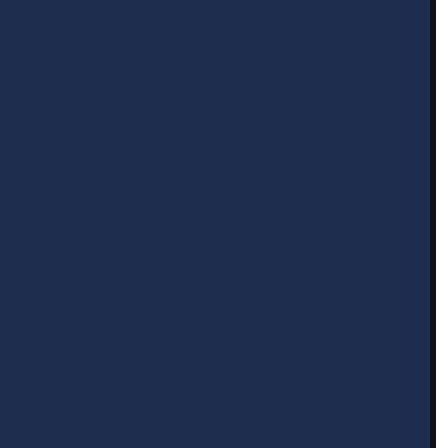world towards strength training…pounding our joints. More importantly, is what is needed for free a…only take 21 minutes…you…activities.
BACK TO TOP
How does your program…
We use the 21 F.I.T (fatiguing…slow, controlled, full range of…decades.
BACK TO TOP
What is the workout?
Members use this slow, con…can no longer move the we…